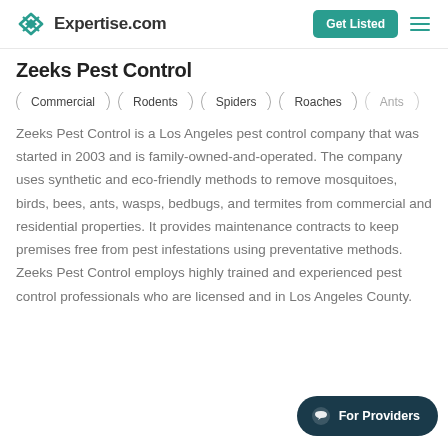Expertise.com
Zeeks Pest Control
Commercial
Rodents
Spiders
Roaches
Ants
Zeeks Pest Control is a Los Angeles pest control company that was started in 2003 and is family-owned-and-operated. The company uses synthetic and eco-friendly methods to remove mosquitoes, birds, bees, ants, wasps, bedbugs, and termites from commercial and residential properties. It provides maintenance contracts to keep premises free from pest infestations using preventative methods. Zeeks Pest Control employs highly trained and experienced pest control professionals who are licensed and in Los Angeles County.